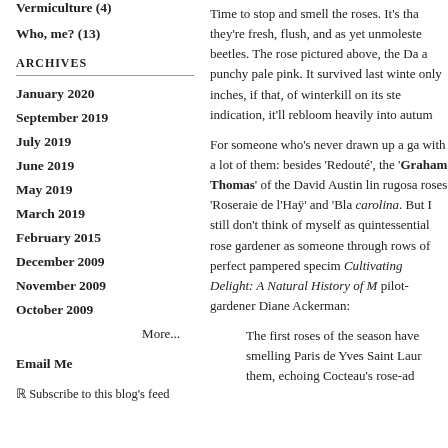Vermiculture (4)
Who, me? (13)
ARCHIVES
January 2020
September 2019
July 2019
June 2019
May 2019
March 2019
February 2015
December 2009
November 2009
October 2009
More...
Email Me
Subscribe to this blog's feed
Time to stop and smell the roses. It's tha they're fresh, flush, and as yet unmoleste beetles. The rose pictured above, the Da a punchy pale pink. It survived last winte only inches, if that, of winterkill on its ste indication, it'll rebloom heavily into autum
For someone who's never drawn up a ga with a lot of them: besides 'Redouté', the 'Graham Thomas' of the David Austin lin rugosa roses 'Roseraie de l'Haÿ' and 'Bla carolina. But I still don't think of myself as quintessential rose gardener as someone through rows of perfect pampered specim Cultivating Delight: A Natural History of M pilot-gardener Diane Ackerman:
The first roses of the season have smelling Paris de Yves Saint Laur them, echoing Cocteau's rose-ad